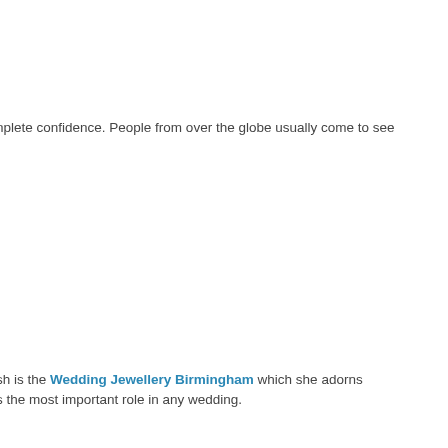nplete confidence. People from over the globe usually come to see
sh is the Wedding Jewellery Birmingham which she adorns s the most important role in any wedding.